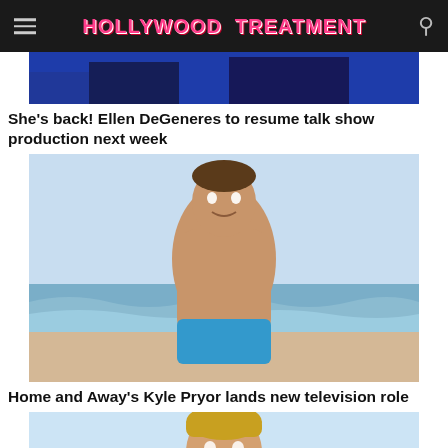HOLLYWOOD TREATMENT
[Figure (photo): Partial top of an image showing a blue/purple background, appearing to be a red carpet or event photo]
She's back! Ellen DeGeneres to resume talk show production next week
[Figure (photo): A shirtless muscular man with dark hair smiling at the beach, wearing blue swim shorts, ocean waves in background]
Home and Away's Kyle Pryor lands new television role
[Figure (photo): A shirtless blonde man with serious expression against light blue background, partial view cut off at bottom]